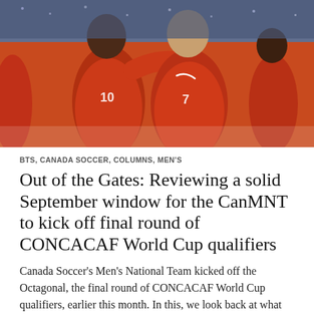[Figure (photo): Two Canada men's national soccer team players in red jerseys celebrating on the field, embracing each other. One wears number 10, the other number 7. Another player visible in background on right.]
BTS, CANADA SOCCER, COLUMNS, MEN'S
Out of the Gates: Reviewing a solid September window for the CanMNT to kick off final round of CONCACAF World Cup qualifiers
Canada Soccer's Men's National Team kicked off the Octagonal, the final round of CONCACAF World Cup qualifiers, earlier this month. In this, we look back at what we learned about them in their first 3 games of this 14 game odyssey that they're hoping ends with them punching a ticket to the 2022 World Cup in Qatar